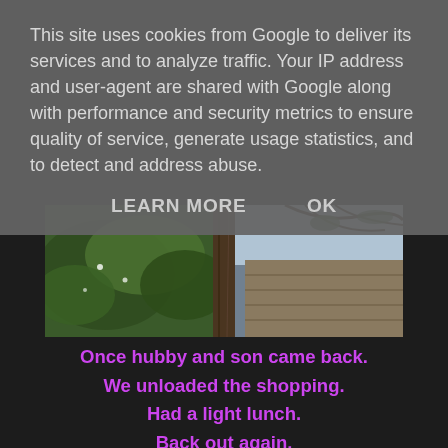This site uses cookies from Google to deliver its services and to analyze traffic. Your IP address and user-agent are shared with Google along with performance and security metrics to ensure quality of service, generate usage statistics, and to detect and address abuse.
LEARN MORE    OK
[Figure (photo): Two-panel photo collage of garden/outdoor scenes with green plants, tree trunk, and wooden fence/shed structure]
Once hubby and son came back.
We unloaded the shopping.
Had a light lunch.
Back out again.
[Figure (photo): Photo of blue sky with white clouds, trees, and a brick building/chimney visible at bottom]